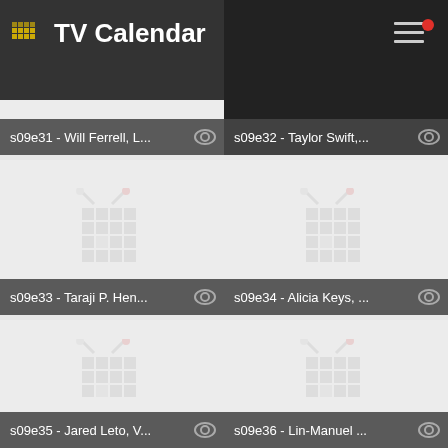TV Calendar
[Figure (screenshot): TV Calendar app grid showing episode thumbnails: s09e31 Will Ferrell L..., s09e32 Taylor Swift..., s09e33 Taraji P. Hen..., s09e34 Alicia Keys..., s09e35 Jared Leto V..., s09e36 Lin-Manuel ...]